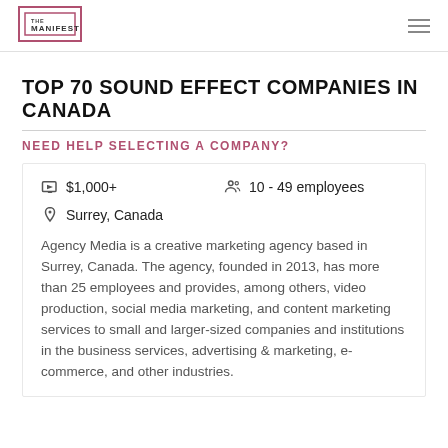THE MANIFEST
TOP 70 SOUND EFFECT COMPANIES IN CANADA
NEED HELP SELECTING A COMPANY?
$1,000+   10 - 49 employees   Surrey, Canada
Agency Media is a creative marketing agency based in Surrey, Canada. The agency, founded in 2013, has more than 25 employees and provides, among others, video production, social media marketing, and content marketing services to small and larger-sized companies and institutions in the business services, advertising & marketing, e-commerce, and other industries.